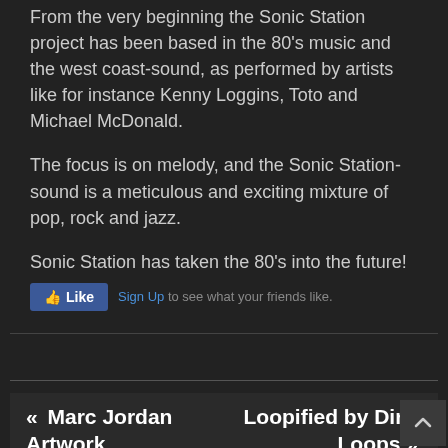From the very beginning the Sonic Station project has been based in the 80's music and the west coast-sound, as performed by artists like for instance Kenny Loggins, Toto and Michael McDonald.
The focus is on melody, and the Sonic Station-sound is a meticulous and exciting mixture of pop, rock and jazz.
Sonic Station has taken the 80's into the future!
[Figure (screenshot): Facebook Like button widget with Sign Up link and text 'to see what your friends like.']
« Marc Jordan Artwork
Loopified by Dirty Loops »